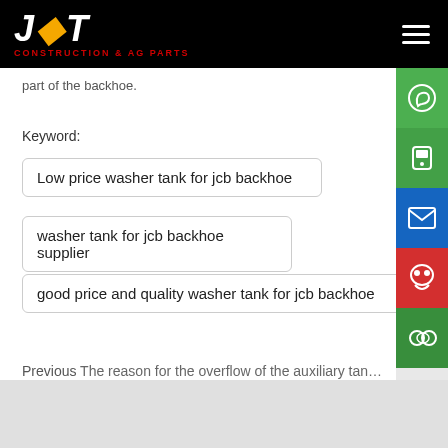JWT CONSTRUCTION & AG PARTS
part of the backhoe.
Keyword:
Low price washer tank for jcb backhoe
washer tank for jcb backhoe supplier
good price and quality washer tank for jcb backhoe
Previous The reason for the overflow of the auxiliary tan…
Next What is the function of the car washer tank